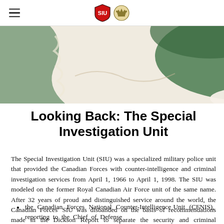≡ [logos]
[Figure (illustration): Partial illustration showing a cartoon figure in a green and cream/beige setting, partially cropped at the top of the page.]
Looking Back: The Special Investigation Unit
The Special Investigation Unit (SIU) was a specialized military police unit that provided the Canadian Forces with counter-intelligence and criminal investigation services from April 1, 1966 to April 1, 1998. The SIU was modeled on the former Royal Canadian Air Force unit of the same name. After 32 years of proud and distinguished service around the world, the Canadian Forces' SIU was disbanded on the basis of recommendations made in the Dickson Report to separate the security and criminal investigation functions. The SIU was replaced by two new units:
the Canadian Forces National Counter-Intelligence Unit (CFNIS), reporting to the Chief of Defense